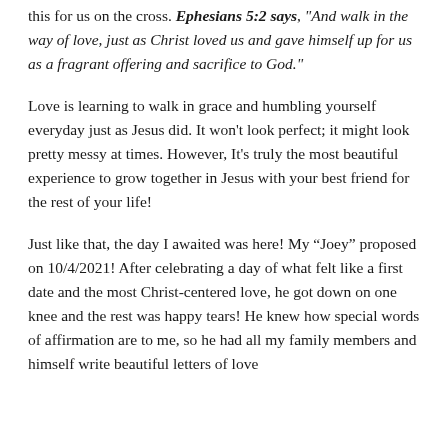this for us on the cross. Ephesians 5:2 says, "And walk in the way of love, just as Christ loved us and gave himself up for us as a fragrant offering and sacrifice to God."
Love is learning to walk in grace and humbling yourself everyday just as Jesus did. It won't look perfect; it might look pretty messy at times. However, It's truly the most beautiful experience to grow together in Jesus with your best friend for the rest of your life!
Just like that, the day I awaited was here! My “Joey” proposed on 10/4/2021! After celebrating a day of what felt like a first date and the most Christ-centered love, he got down on one knee and the rest was happy tears! He knew how special words of affirmation are to me, so he had all my family members and himself write beautiful letters of love